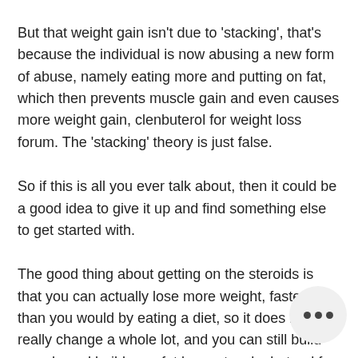But that weight gain isn't due to 'stacking', that's because the individual is now abusing a new form of abuse, namely eating more and putting on fat, which then prevents muscle gain and even causes more weight gain, clenbuterol for weight loss forum. The 'stacking' theory is just false.
So if this is all you ever talk about, then it could be a good idea to give it up and find something else to get started with.
The good thing about getting on the steroids is that you can actually lose more weight, faster, than you would by eating a diet, so it does not really change a whole lot, and you can still build muscle and build your fat loss rate, clenbuterol for fat loss results.
If you take steroids it should not affect muscles you have and will be good for